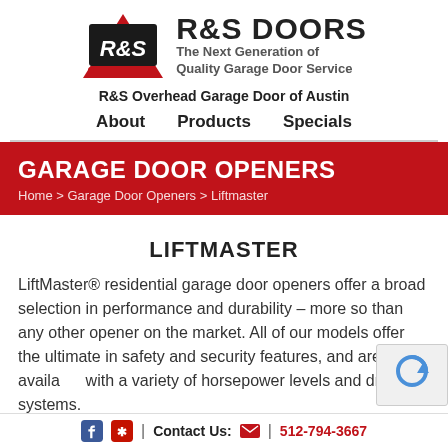[Figure (logo): R&S Doors logo with red and black triangular emblem and text 'R&S DOORS — The Next Generation of Quality Garage Door Service']
R&S Overhead Garage Door of Austin
About   Products   Specials
GARAGE DOOR OPENERS
Home > Garage Door Openers > Liftmaster
LIFTMASTER
LiftMaster® residential garage door openers offer a broad selection in performance and durability – more so than any other opener on the market. All of our models offer the ultimate in safety and security features, and are available with a variety of horsepower levels and drive systems.
Contact Us: | 512-794-3667